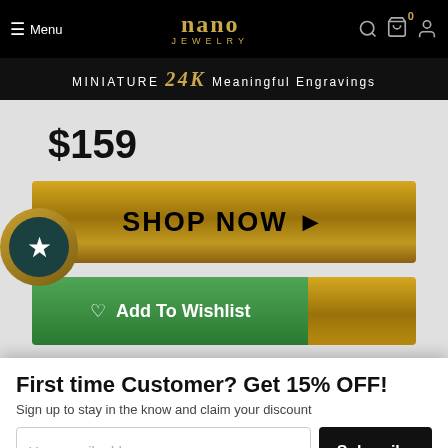Menu | nano JEWELRY | search | cart 0 | account
MINIATURE 24K Meaningful Engravings
$159
SHOP NOW ▶
♡ Add To Wishlist
First time Customer? Get 15% OFF!
Sign up to stay in the know and claim your discount
Your email address
Subscribe
Share with your friends